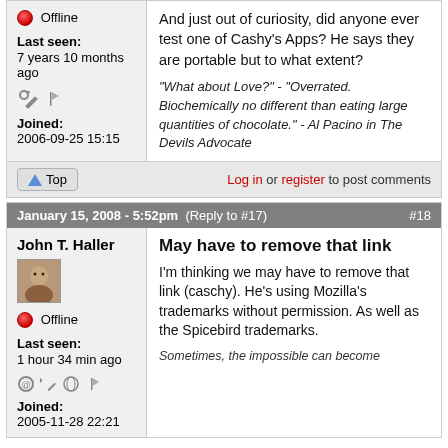Offline
Last seen: 7 years 10 months ago
Joined: 2006-09-25 15:15
And just out of curiosity, did anyone ever test one of Cashy's Apps? He says they are portable but to what extent?
"What about Love?" - "Overrated. Biochemically no different than eating large quantities of chocolate." - Al Pacino in The Devils Advocate
Log in or register to post comments
January 15, 2008 - 5:52pm  (Reply to #17)  #18
John T. Haller
Offline
Last seen: 1 hour 34 min ago
Joined: 2005-11-28 22:21
May have to remove that link
I'm thinking we may have to remove that link (caschy). He's using Mozilla's trademarks without permission. As well as the Spicebird trademarks.
Sometimes, the impossible can become